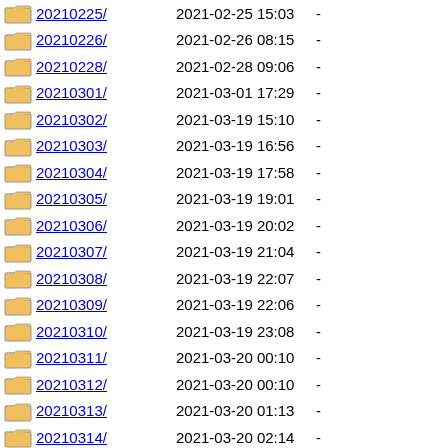20210225/ 2021-02-25 15:03 -
20210226/ 2021-02-26 08:15 -
20210228/ 2021-02-28 09:06 -
20210301/ 2021-03-01 17:29 -
20210302/ 2021-03-19 15:10 -
20210303/ 2021-03-19 16:56 -
20210304/ 2021-03-19 17:58 -
20210305/ 2021-03-19 19:01 -
20210306/ 2021-03-19 20:02 -
20210307/ 2021-03-19 21:04 -
20210308/ 2021-03-19 22:07 -
20210309/ 2021-03-19 22:06 -
20210310/ 2021-03-19 23:08 -
20210311/ 2021-03-20 00:10 -
20210312/ 2021-03-20 00:10 -
20210313/ 2021-03-20 01:13 -
20210314/ 2021-03-20 02:14 -